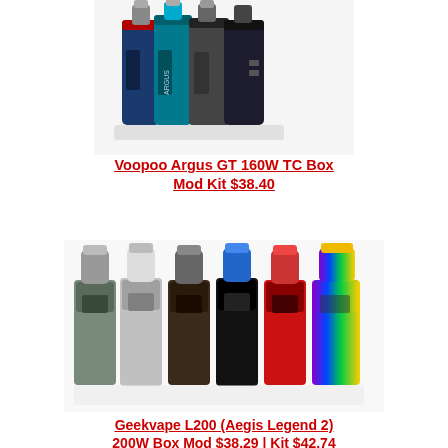[Figure (photo): Product photo of Voopoo Argus GT 160W TC Box Mod Kit showing multiple color variants of the device — blue, teal, red, and dark colorways — displayed together]
Voopoo Argus GT 160W TC Box Mod Kit $38.40
[Figure (photo): Product photo of Geekvape L200 (Aegis Legend 2) 200W Box Mod Kit showing six color variants: gray/green, silver, dark/leather, black, red/black, and rainbow/iridescent colorways lined up side by side]
Geekvape L200 (Aegis Legend 2) 200W Box Mod $38.29 | Kit $42.74
[Figure (photo): Partial product photo at the bottom of the page showing multiple color variants of a vape mod device in teal/green, dark green, gold/champagne colors — only the top portion visible]